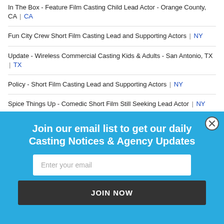In The Box - Feature Film Casting Child Lead Actor - Orange County, CA | CA
Fun City Crew Short Film Casting Lead and Supporting Actors | NY
Update - Wireless Commercial Casting Kids & Adults - San Antonio, TX | TX
Policy - Short Film Casting Lead and Supporting Actors | NY
Spice Things Up - Comedic Short Film Still Seeking Lead Actor | NY
Join our email list to get our daily Casting Notices & Agency Updates
Enter your email
JOIN NOW